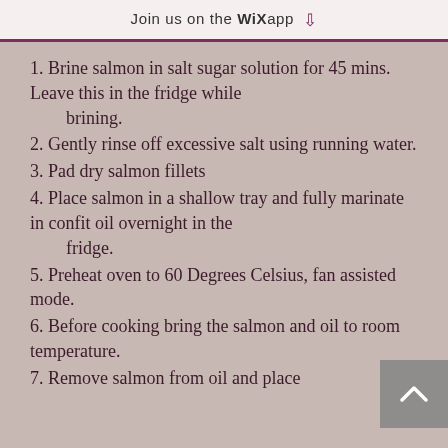Join us on the WiX app ⬇
1. Brine salmon in salt sugar solution for 45 mins. Leave this in the fridge while
    brining.
2. Gently rinse off excessive salt using running water.
3. Pad dry salmon fillets
4. Place salmon in a shallow tray and fully marinate in confit oil overnight in the
    fridge.
5. Preheat oven to 60 Degrees Celsius, fan assisted mode.
6. Before cooking bring the salmon and oil to room temperature.
7. Remove salmon from oil and place